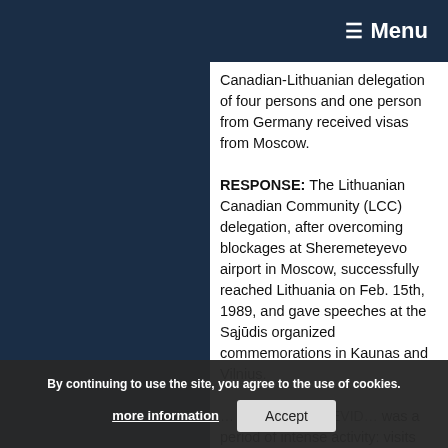☰ Menu
Canadian-Lithuanian delegation of four persons and one person from Germany received visas from Moscow. RESPONSE: The Lithuanian Canadian Community (LCC) delegation, after overcoming blockages at Sheremeteyevo airport in Moscow, successfully reached Lithuania on Feb. 15th, 1989, and gave speeches at the Sąjūdis organized commemorations in Kaunas and Vilnius.
…THIS PERIOD EVID… was a period of intense activity: visits by Sąjūdis officials to Canada and other…
By continuing to use the site, you agree to the use of cookies. more information | Accept